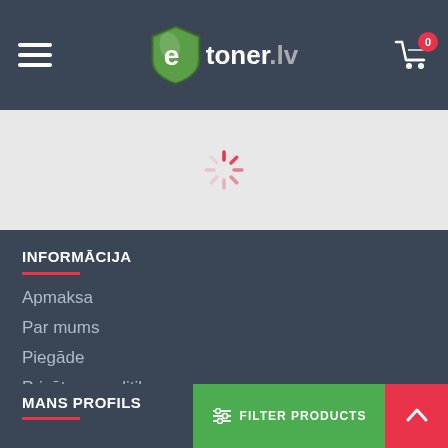[Figure (logo): etoner.lv website header with hamburger menu, logo, and cart icon with badge 0]
[Figure (other): Loading spinner (red asterisk/snowflake animation indicator) on light grey background]
INFORMĀCIJA
Apmaksa
Par mums
Piegāde
Privātuma politika
Kontakti
Vietnes karte
MANS PROFILS
[Figure (other): Green FILTER PRODUCTS button with sliders icon]
[Figure (other): Red scroll-to-top arrow button]